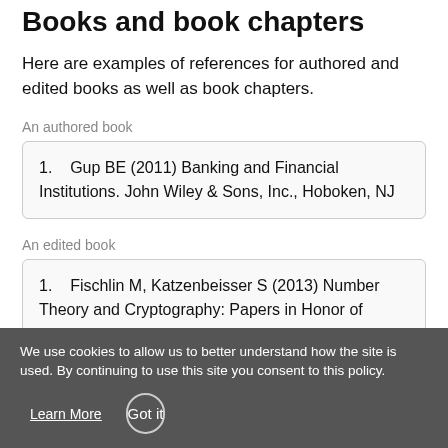Books and book chapters
Here are examples of references for authored and edited books as well as book chapters.
An authored book
1. Gup BE (2011) Banking and Financial Institutions. John Wiley & Sons, Inc., Hoboken, NJ
An edited book
1. Fischlin M, Katzenbeisser S (2013) Number Theory and Cryptography: Papers in Honor of
We use cookies to allow us to better understand how the site is used. By continuing to use this site you consent to this policy.
Learn More
Got it